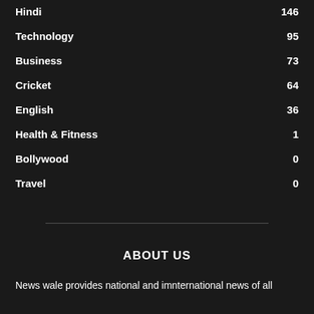Hindi 146
Technology 95
Business 73
Cricket 64
English 36
Health & Fitness 1
Bollywood 0
Travel 0
ABOUT US
News wale provides national and imnternational news of all